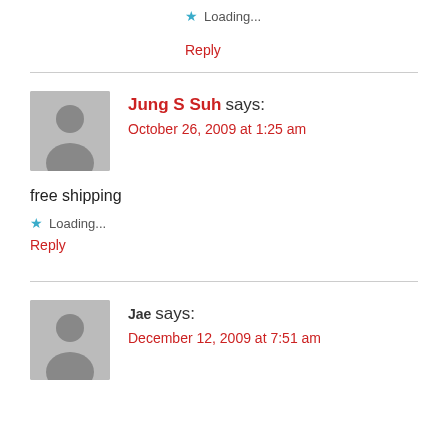★ Loading...
Reply
Jung S Suh says:
October 26, 2009 at 1:25 am
free shipping
★ Loading...
Reply
Jae says:
December 12, 2009 at 7:51 am